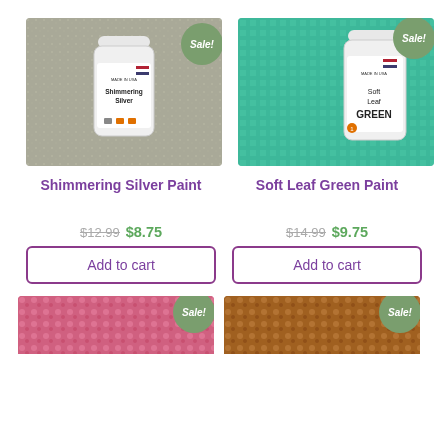[Figure (photo): Photo of Shimmering Silver Paint bottle with glittery silver background, Sale! badge top right]
[Figure (photo): Photo of Soft Leaf Green Paint bottle with shimmering green background, Sale! badge top right]
Shimmering Silver Paint
Soft Leaf Green Paint
$12.99 $8.75
$14.99 $9.75
Add to cart
Add to cart
[Figure (photo): Partially visible product image with pink/colorful background, Sale! badge visible]
[Figure (photo): Partially visible product image with orange/dark background, Sale! badge visible]